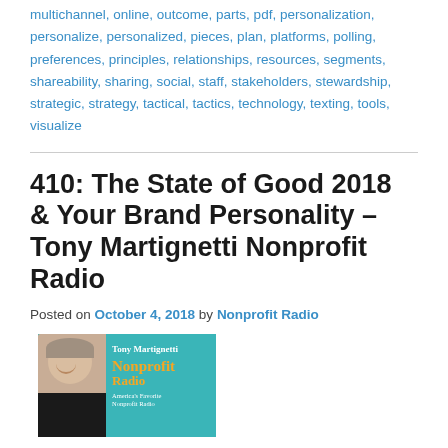multichannel, online, outcome, parts, pdf, personalization, personalize, personalized, pieces, plan, platforms, polling, preferences, principles, relationships, resources, segments, shareability, sharing, social, staff, stakeholders, stewardship, strategic, strategy, tactical, tactics, technology, texting, tools, visualize
410: The State of Good 2018 & Your Brand Personality – Tony Martignetti Nonprofit Radio
Posted on October 4, 2018 by Nonprofit Radio
[Figure (illustration): Podcast cover art for Tony Martignetti Nonprofit Radio showing a man with headphones on a teal background with orange text reading 'Tony Martignetti Nonprofit Radio']